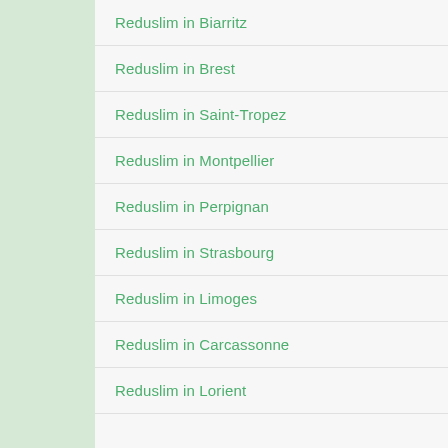Reduslim in Biarritz
Reduslim in Brest
Reduslim in Saint-Tropez
Reduslim in Montpellier
Reduslim in Perpignan
Reduslim in Strasbourg
Reduslim in Limoges
Reduslim in Carcassonne
Reduslim in Lorient